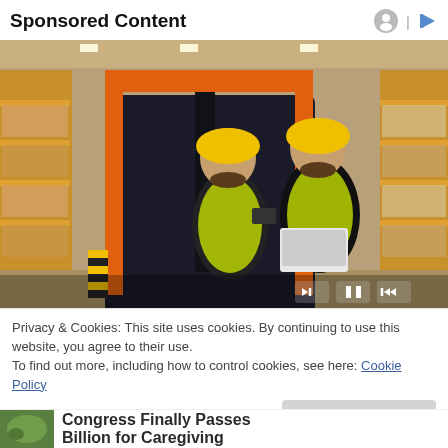Sponsored Content
[Figure (photo): Two warehouse workers wearing yellow hard hats and high-visibility vests standing near an orange forklift in a large warehouse with shelving units. One worker holds a tablet/phone, the other holds an open laptop.]
Privacy & Cookies: This site uses cookies. By continuing to use this website, you agree to their use.
To find out more, including how to control cookies, see here: Cookie Policy
Close and accept
Congress Finally Passes Billion for Caregiving